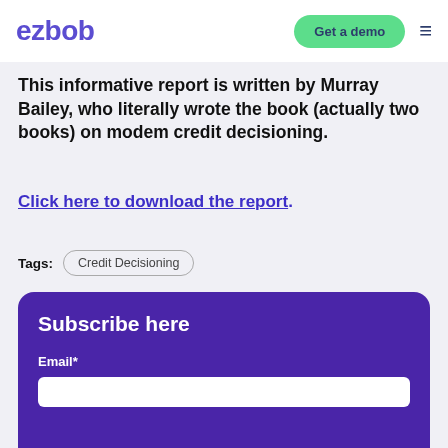ezbob | Get a demo
This informative report is written by Murray Bailey, who literally wrote the book (actually two books) on modem credit decisioning.
Click here to download the report.
Tags: Credit Decisioning
Subscribe here
Email*